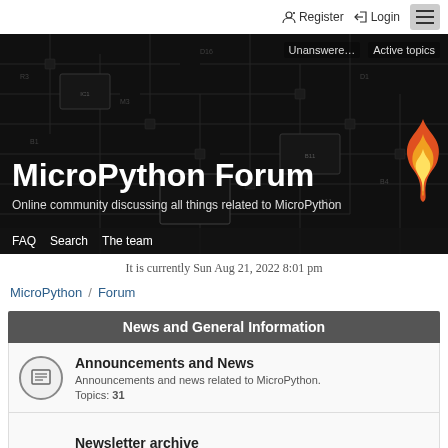Register  Login
[Figure (screenshot): MicroPython Forum hero banner with circuit board background. Shows title 'MicroPython Forum' and subtitle 'Online community discussing all things related to MicroPython'. Bottom nav: FAQ, Search, The team. Top right links: Unanswere..., Active topics.]
It is currently Sun Aug 21, 2022 8:01 pm
MicroPython / Forum
News and General Information
Announcements and News
Announcements and news related to MicroPython.
Topics: 31
Newsletter archive